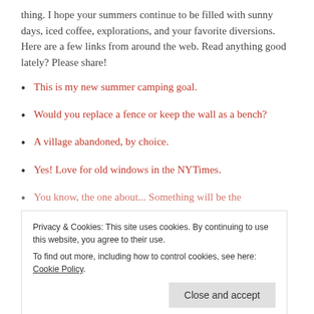thing. I hope your summers continue to be filled with sunny days, iced coffee, explorations, and your favorite diversions. Here are a few links from around the web. Read anything good lately? Please share!
This is my new summer camping goal.
Would you replace a fence or keep the wall as a bench?
A village abandoned, by choice.
Yes! Love for old windows in the NYTimes.
You know, the one about...Something will be the...
Privacy & Cookies: This site uses cookies. By continuing to use this website, you agree to their use. To find out more, including how to control cookies, see here: Cookie Policy
Instagrammer of the week: @southern_explorer85